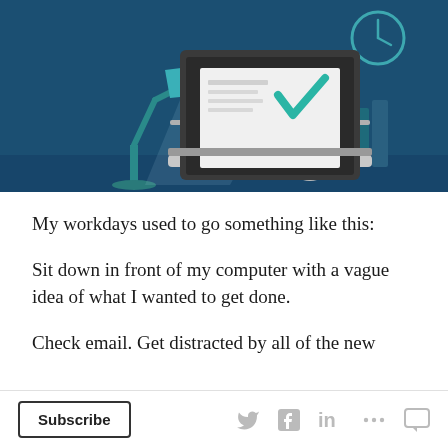[Figure (illustration): Hero illustration on dark blue background showing a laptop computer with a teal checkmark on the screen, a desk lamp on the left, a clock in the upper right, books and a computer mouse on the right.]
My workdays used to go something like this:
Sit down in front of my computer with a vague idea of what I wanted to get done.
Check email. Get distracted by all of the new
Subscribe  [Twitter] [Facebook] [LinkedIn] [...] [Comment]